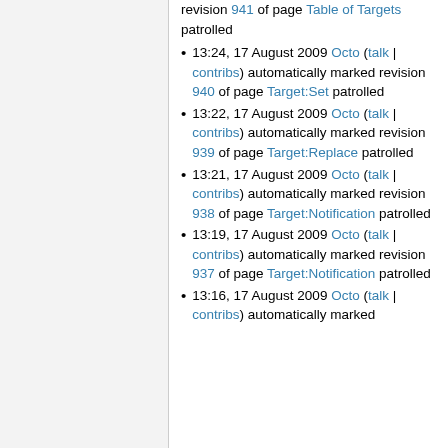revision 941 of page Table of Targets patrolled
13:24, 17 August 2009 Octo (talk | contribs) automatically marked revision 940 of page Target:Set patrolled
13:22, 17 August 2009 Octo (talk | contribs) automatically marked revision 939 of page Target:Replace patrolled
13:21, 17 August 2009 Octo (talk | contribs) automatically marked revision 938 of page Target:Notification patrolled
13:19, 17 August 2009 Octo (talk | contribs) automatically marked revision 937 of page Target:Notification patrolled
13:16, 17 August 2009 Octo (talk | contribs) automatically marked